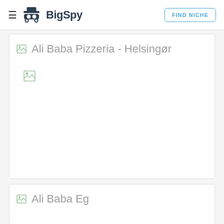BigSpy | FIND NICHE
Ali Baba Pizzeria - Helsingør
[Figure (other): Broken image placeholder (large)]
Ali Baba Eg